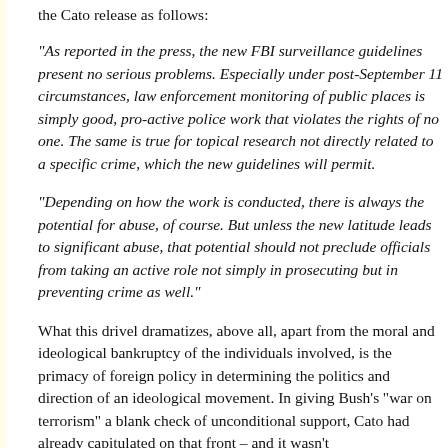the Cato release as follows:
"As reported in the press, the new FBI surveillance guidelines present no serious problems. Especially under post-September 11 circumstances, law enforcement monitoring of public places is simply good, pro-active police work that violates the rights of no one. The same is true for topical research not directly related to a specific crime, which the new guidelines will permit.
"Depending on how the work is conducted, there is always the potential for abuse, of course. But unless the new latitude leads to significant abuse, that potential should not preclude officials from taking an active role not simply in prosecuting but in preventing crime as well."
What this drivel dramatizes, above all, apart from the moral and ideological bankruptcy of the individuals involved, is the primacy of foreign policy in determining the politics and direction of an ideological movement. In giving Bush's "war on terrorism" a blank check of unconditional support, Cato had already capitulated on that front – and it wasn't